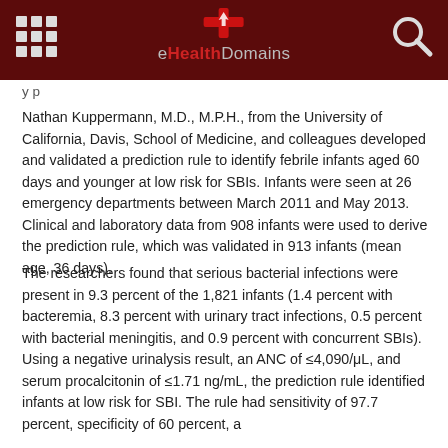eHealthDomains
y p...
Nathan Kuppermann, M.D., M.P.H., from the University of California, Davis, School of Medicine, and colleagues developed and validated a prediction rule to identify febrile infants aged 60 days and younger at low risk for SBIs. Infants were seen at 26 emergency departments between March 2011 and May 2013. Clinical and laboratory data from 908 infants were used to derive the prediction rule, which was validated in 913 infants (mean age, 36 days).
The researchers found that serious bacterial infections were present in 9.3 percent of the 1,821 infants (1.4 percent with bacteremia, 8.3 percent with urinary tract infections, 0.5 percent with bacterial meningitis, and 0.9 percent with concurrent SBIs). Using a negative urinalysis result, an ANC of ≤4,090/μL, and serum procalcitonin of ≤1.71 ng/mL, the prediction rule identified infants at low risk for SBI. The rule had sensitivity of 97.7 percent, specificity of 60 percent, a